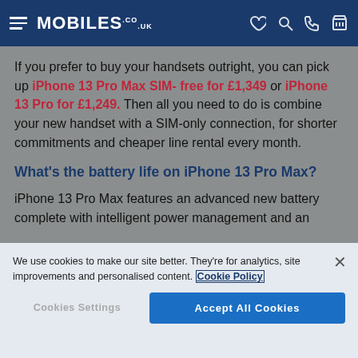MOBILES.CO.UK
If you prefer to buy your handsets outright, you can pick up iPhone 13 Pro Max SIM- free for £1,349 or iPhone 13 Pro for £1,249. Then all you need to do is combine your new handset with a SIM-only connection, for shorter commitments and cheaper line rental every month.
What's the battery life on iPhone 13 Pro Max?
iPhone 13 Pro Max features an advanced new battery complete with intelligent power management and an
We use cookies to make our site better. They're for analytics, site improvements and personalised content. Cookie Policy
Cookies Settings
Accept All Cookies